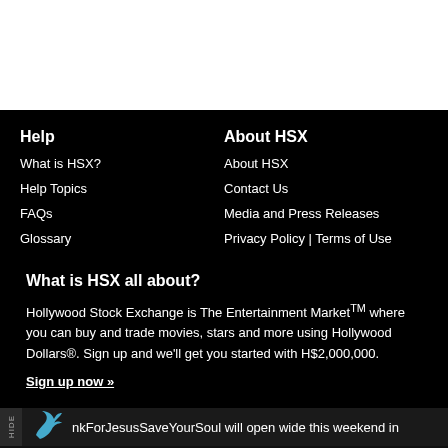Help
What is HSX?
Help Topics
FAQs
Glossary
About HSX
About HSX
Contact Us
Media and Press Releases
Privacy Policy | Terms of Use
What is HSX all about?
Hollywood Stock Exchange is The Entertainment Market™ where you can buy and trade movies, stars and more using Hollywood Dollars®. Sign up and we’ll get you started with H$2,000,000.
Sign up now »
HIDE | nkForJesusSaveYourSoul will open wide this weekend in
HSX | c (HYPNT) 150000 13.37 (-0.15) | Hypnotic (HYPNT) 1500